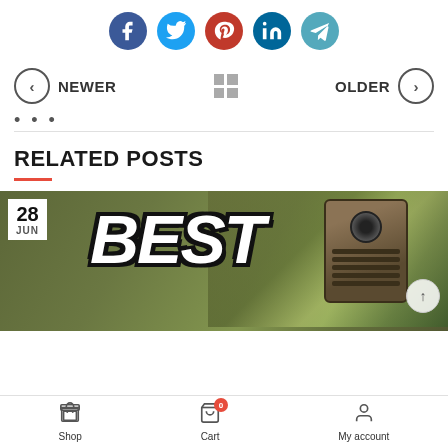[Figure (infographic): Row of 5 social media share icons: Facebook (dark blue), Twitter (light blue), Pinterest (red), LinkedIn (dark blue), Telegram (teal)]
NEWER   [grid icon]   OLDER
...
RELATED POSTS
[Figure (photo): Blog post thumbnail showing trail camera mounted on tree with 'BEST' text overlay and date badge '28 JUN']
Shop   Cart (0)   My account